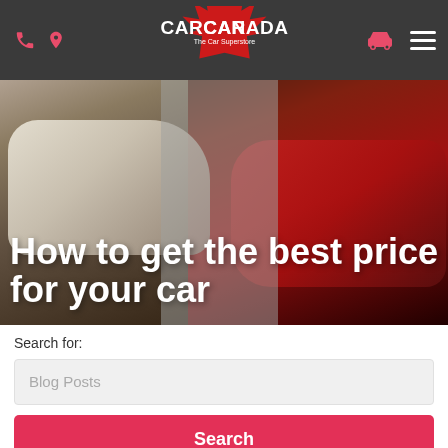CarCanada - The Car Superstore header navigation bar
[Figure (logo): CarCanada logo with red maple leaf shape, white bold text 'CARCANADA' and subtitle 'The Car Superstore']
[Figure (photo): Hero banner showing two cars in a showroom — white car on left, red car on right — with gray translucent overlay in center]
How to get the best price for your car
Search for:
Blog Posts
Search